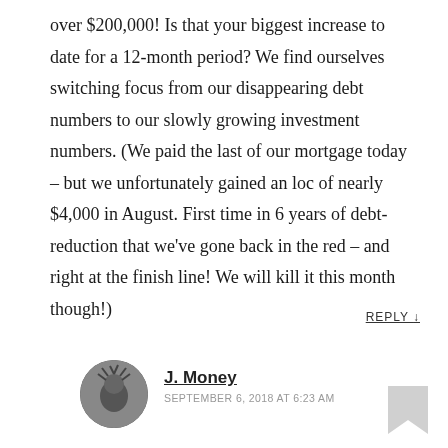over $200,000! Is that your biggest increase to date for a 12-month period? We find ourselves switching focus from our disappearing debt numbers to our slowly growing investment numbers. (We paid the last of our mortgage today – but we unfortunately gained an loc of nearly $4,000 in August. First time in 6 years of debt-reduction that we've gone back in the red – and right at the finish line! We will kill it this month though!)
REPLY ↓
J. Money
SEPTEMBER 6, 2018 AT 6:23 AM